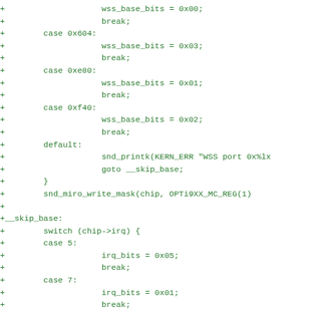Code diff showing switch-case blocks for wss_base_bits and irq_bits assignments in a Linux kernel audio driver (snd_miro)